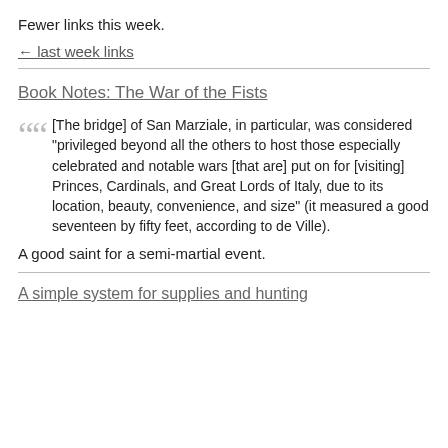Fewer links this week.
← last week links
Book Notes: The War of the Fists
[The bridge] of San Marziale, in particular, was considered "privileged beyond all the others to host those especially celebrated and notable wars [that are] put on for [visiting] Princes, Cardinals, and Great Lords of Italy, due to its location, beauty, convenience, and size" (it measured a good seventeen by fifty feet, according to de Ville).
A good saint for a semi-martial event.
A simple system for supplies and hunting